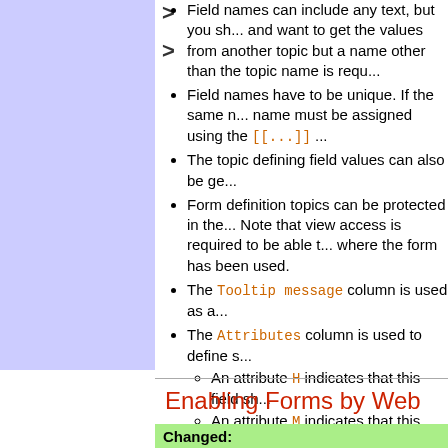Field names can include any text, but you should and want to get the values from another topic but a name other than the topic name is requ...
Field names have to be unique. If the same name must be assigned using the [[...]]
The topic defining field values can also be ge...
Form definition topics can be protected in the... Note that view access is required to be able t... where the form has been used.
The Tooltip message column is used as a...
The Attributes column is used to define s...
An attribute H indicates that this field sh...
An attribute M indicates that this field is... save, an error is raised and the user is...
Enabling Forms by Web
Changed: